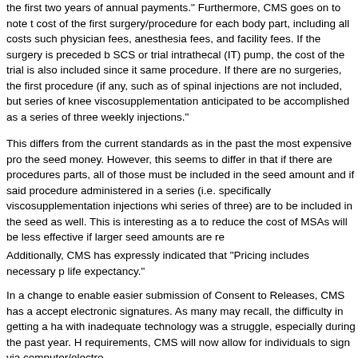the first two years of annual payments." Furthermore, CMS goes on to note the cost of the first surgery/procedure for each body part, including all costs such as physician fees, anesthesia fees, and facility fees. If the surgery is preceded by SCS or trial intrathecal (IT) pump, the cost of the trial is also included since it same procedure. If there are no surgeries, the first procedure (if any, such as of spinal injections are not included, but series of knee viscosupplementation anticipated to be accomplished as a series of three weekly injections."
This differs from the current standards as in the past the most expensive pro the seed money. However, this seems to differ in that if there are procedures parts, all of those must be included in the seed amount and if said procedure administered in a series (i.e. specifically viscosupplementation injections whi series of three) are to be included in the seed as well. This is interesting as a to reduce the cost of MSAs will be less effective if larger seed amounts are re
Additionally, CMS has expressly indicated that "Pricing includes necessary p life expectancy."
In a change to enable easier submission of Consent to Releases, CMS has a accept electronic signatures. As many may recall, the difficulty in getting a ha with inadequate technology was a struggle, especially during the past year. H requirements, CMS will now allow for individuals to sign via computer/electro